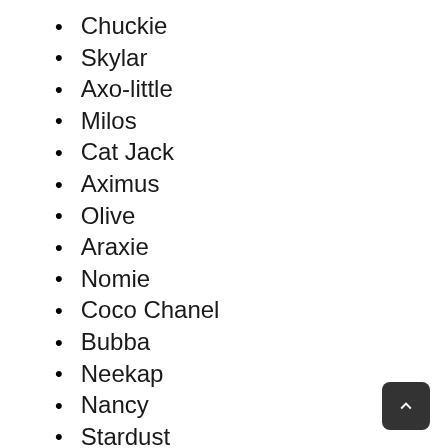Chuckie
Skylar
Axo-little
Milos
Cat Jack
Aximus
Olive
Araxie
Nomie
Coco Chanel
Bubba
Neekap
Nancy
Stardust
Fizz